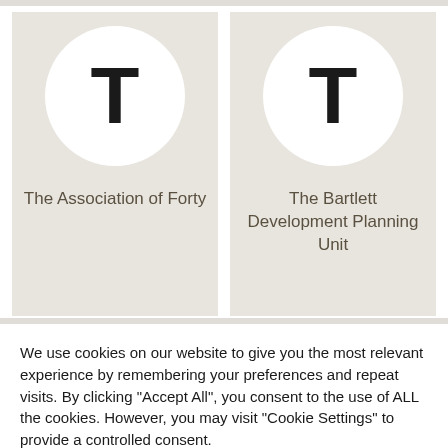[Figure (illustration): Card with large letter T avatar circle on beige background, labeled 'The Association of Forty']
The Association of Forty
[Figure (illustration): Card with large letter T avatar circle on beige background, labeled 'The Bartlett Development Planning Unit']
The Bartlett Development Planning Unit
We use cookies on our website to give you the most relevant experience by remembering your preferences and repeat visits. By clicking "Accept All", you consent to the use of ALL the cookies. However, you may visit "Cookie Settings" to provide a controlled consent.
Accept All
Cookie Settings